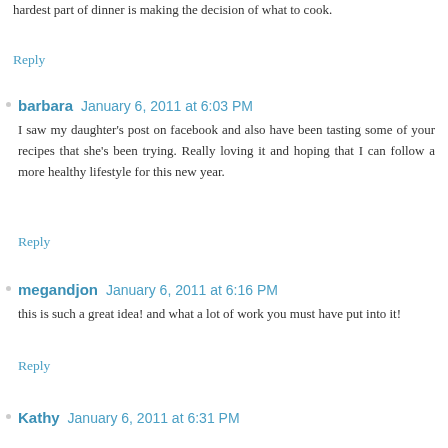hardest part of dinner is making the decision of what to cook.
Reply
barbara  January 6, 2011 at 6:03 PM
I saw my daughter's post on facebook and also have been tasting some of your recipes that she's been trying. Really loving it and hoping that I can follow a more healthy lifestyle for this new year.
Reply
megandjon  January 6, 2011 at 6:16 PM
this is such a great idea! and what a lot of work you must have put into it!
Reply
Kathy  January 6, 2011 at 6:31 PM